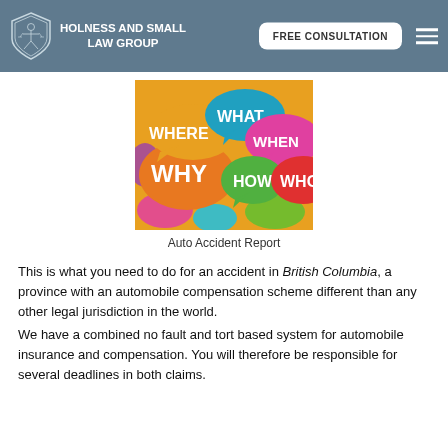HOLNESS AND SMALL LAW GROUP | FREE CONSULTATION
[Figure (photo): Colorful speech bubbles with question words: WHERE, WHAT, WHEN, WHY, HOW, WHO]
Auto Accident Report
This is what you need to do for an accident in British Columbia, a province with an automobile compensation scheme different than any other legal jurisdiction in the world.
We have a combined no fault and tort based system for automobile insurance and compensation. You will therefore be responsible for several deadlines in both claims.